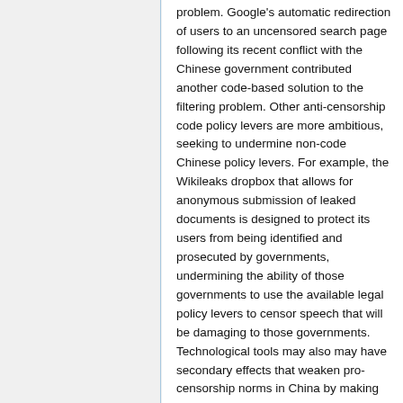problem. Google's automatic redirection of users to an uncensored search page following its recent conflict with the Chinese government contributed another code-based solution to the filtering problem. Other anti-censorship code policy levers are more ambitious, seeking to undermine non-code Chinese policy levers. For example, the Wikileaks dropbox that allows for anonymous submission of leaked documents is designed to protect its users from being identified and prosecuted by governments, undermining the ability of those governments to use the available legal policy levers to censor speech that will be damaging to those governments. Technological tools may also may have secondary effects that weaken pro-censorship norms in China by making